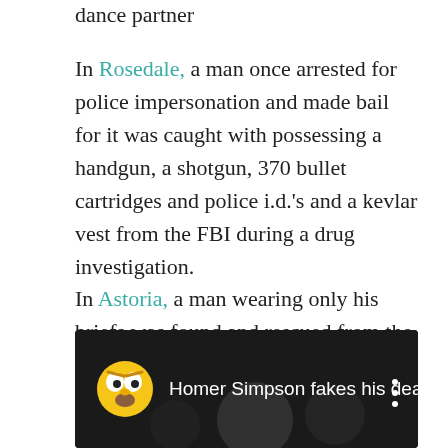dance partner
In Rosedale, a man once arrested for police impersonation and made bail for it was caught with possessing a handgun, a shotgun, 370 bullet cartridges and police i.d.'s and a kevlar vest from the FBI during a drug investigation.
In Astoria, a man wearing only his briefs was found and rescued from the East River just before the current was about to take him towards the machinery of a power plant. Below is a dramatization of what could have resulted.
[Figure (screenshot): YouTube video thumbnail showing Homer Simpson avatar icon on dark background with text 'Homer Simpson fakes his deat...' and three-dot menu icon]